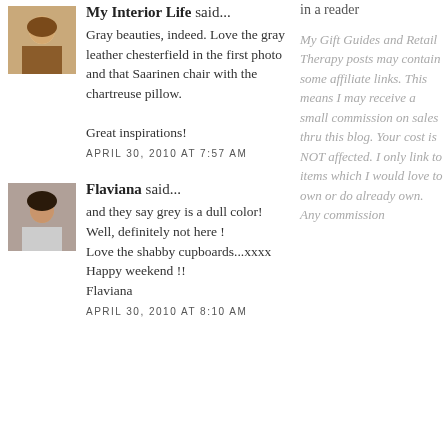in a reader
My Interior Life said...
Gray beauties, indeed. Love the gray leather chesterfield in the first photo and that Saarinen chair with the chartreuse pillow.

Great inspirations!
APRIL 30, 2010 AT 7:57 AM
Flaviana said...
and they say grey is a dull color! Well, definitely not here !
Love the shabby cupboards...xxxx
Happy weekend !!
Flaviana
APRIL 30, 2010 AT 8:10 AM
My Gift Guides and Retail Therapy posts may contain some affiliate links. This means I may receive a small commission on sales thru this blog. Your cost is NOT affected. I only link to items which I would love to own or do already own. Any commission